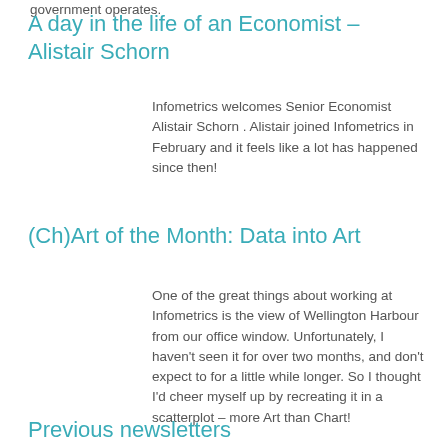government operates.
A day in the life of an Economist – Alistair Schorn
Infometrics welcomes Senior Economist Alistair Schorn . Alistair joined Infometrics in February and it feels like a lot has happened since then!
(Ch)Art of the Month: Data into Art
One of the great things about working at Infometrics is the view of Wellington Harbour from our office window. Unfortunately, I haven't seen it for over two months, and don't expect to for a little while longer. So I thought I'd cheer myself up by recreating it in a scatterplot – more Art than Chart!
Previous newsletters